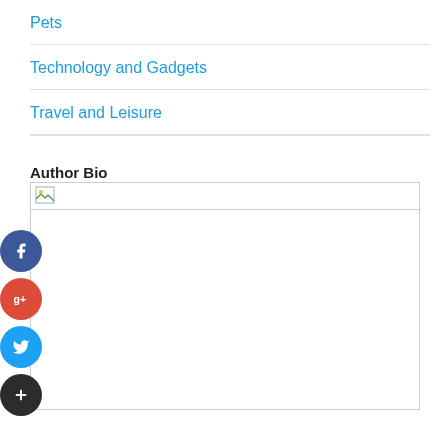Pets
Technology and Gadgets
Travel and Leisure
Author Bio
[Figure (other): Author bio image placeholder box with broken image icon]